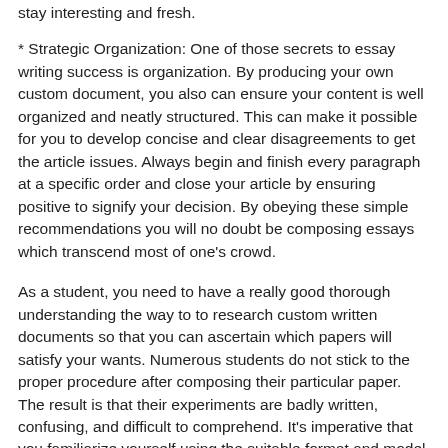stay interesting and fresh.
* Strategic Organization: One of those secrets to essay writing success is organization. By producing your own custom document, you also can ensure your content is well organized and neatly structured. This can make it possible for you to develop concise and clear disagreements to get the article issues. Always begin and finish every paragraph at a specific order and close your article by ensuring positive to signify your decision. By obeying these simple recommendations you will no doubt be composing essays which transcend most of one's crowd.
As a student, you need to have a really good thorough understanding the way to to research custom written documents so that you can ascertain which papers will satisfy your wants. Numerous students do not stick to the proper procedure after composing their particular paper. The result is that their experiments are badly written, confusing, and difficult to comprehend. It's imperative that you familiarize yourself using the suitable format and model so that your essay is going to be accepted by your own